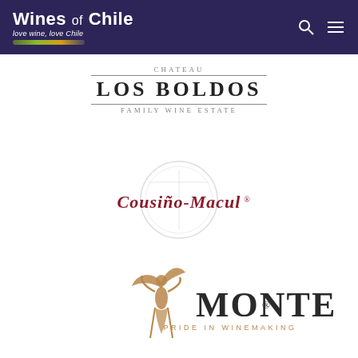[Figure (logo): Wines of Chile logo with white text on dark navy/purple background header, with search and menu icons on right]
[Figure (logo): Chateau Los Boldos Family Wine Estate logo in serif text with horizontal rules]
[Figure (logo): Cousino-Macul logo in dark red serif lettering with circular emblem]
[Figure (logo): Montes Pride in Winemaking logo with angel figure and serif text]